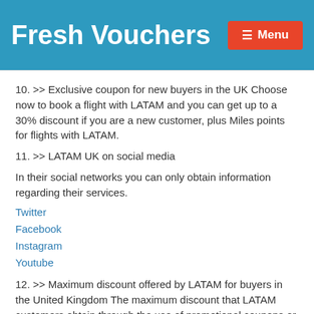Fresh Vouchers Menu
10. >> Exclusive coupon for new buyers in the UK Choose now to book a flight with LATAM and you can get up to a 30% discount if you are a new customer, plus Miles points for flights with LATAM.
11. >> LATAM UK on social media
In their social networks you can only obtain information regarding their services.
Twitter
Facebook
Instagram
Youtube
12. >> Maximum discount offered by LATAM for buyers in the United Kingdom The maximum discount that LATAM customers obtain through the use of promotional coupons or Sicoutn offers is 30% and applies to return flights.